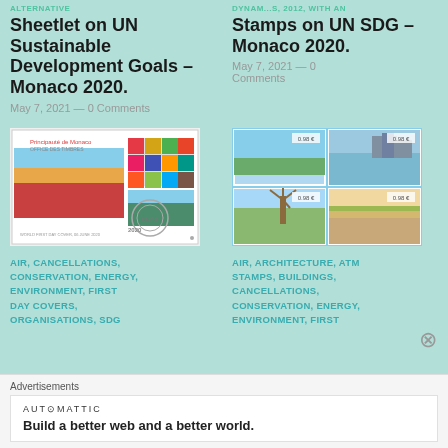[category label top left - partially visible]
Sheetlet on UN Sustainable Development Goals – Monaco 2020.
May 7, 2021 — 0 Comments
Stamps on UN SDG – Monaco 2020.
May 7, 2021 — 0 Comments
[Figure (photo): First day cover for Monaco Principality with UN SDG colorful grid stamps and UNDP cancellation postmark]
[Figure (photo): Sheet of four stamps showing landscape scenes including windmill and architecture]
AIR, CANCELLATIONS, CONSERVATION, ENERGY, ENVIRONMENT, FIRST DAY COVERS, ORGANISATIONS, SDG
AIR, ARCHITECTURE, ATM STAMPS, BUILDINGS, CANCELLATIONS, CONSERVATION, ENERGY, ENVIRONMENT, FIRST
Advertisements
AUTOMATTIC
Build a better web and a better world.